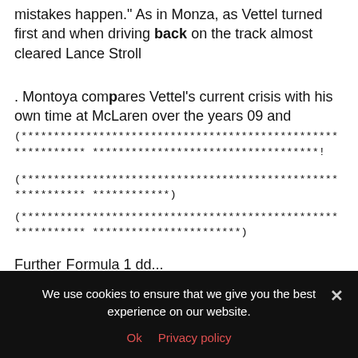mistakes happen." As in Monza, as Vettel turned first and when driving back on the track almost cleared Lance Stroll
. Montoya compares Vettel's current crisis with his own time at McLaren over the years 09 and (********************************************************************************************************************!)
(*********************************************)
(**************************************************************)
Further Formula 1 dd...
We use cookies to ensure that we give you the best experience on our website.
Ok  Privacy policy